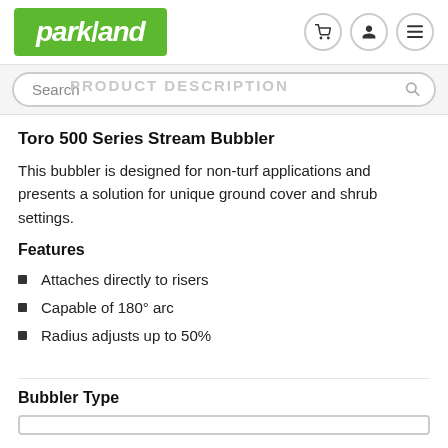parkland
Search
PRODUCT DESCRIPTION
Toro 500 Series Stream Bubbler
This bubbler is designed for non-turf applications and presents a solution for unique ground cover and shrub settings.
Features
Attaches directly to risers
Capable of 180° arc
Radius adjusts up to 50%
Bubbler Type